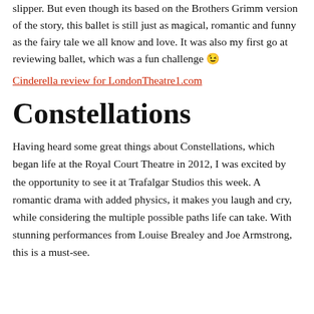slipper. But even though its based on the Brothers Grimm version of the story, this ballet is still just as magical, romantic and funny as the fairy tale we all know and love. It was also my first go at reviewing ballet, which was a fun challenge 😉
Cinderella review for LondonTheatre1.com
Constellations
Having heard some great things about Constellations, which began life at the Royal Court Theatre in 2012, I was excited by the opportunity to see it at Trafalgar Studios this week. A romantic drama with added physics, it makes you laugh and cry, while considering the multiple possible paths life can take. With stunning performances from Louise Brealey and Joe Armstrong, this is a must-see.